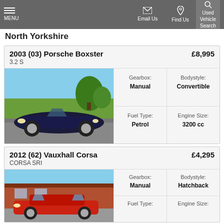MENU  Email Us  Find Us  Used Vehicle Search
North Yorkshire
2003 (03) Porsche Boxster  £8,995
3.2 S
[Figure (photo): Dark blue Porsche Boxster convertible parked on a country road with green fields and trees in the background]
|  |  |
| --- | --- |
| Gearbox: | Bodystyle: |
| Manual | Convertible |
| Fuel Type: | Engine Size: |
| Petrol | 3200 cc |
2012 (62) Vauxhall Corsa  £4,295
CORSA SRI
[Figure (photo): Red Vauxhall Corsa hatchback parked in front of a brick building]
|  |  |
| --- | --- |
| Gearbox: | Bodystyle: |
| Manual | Hatchback |
| Fuel Type: | Engine Size: |